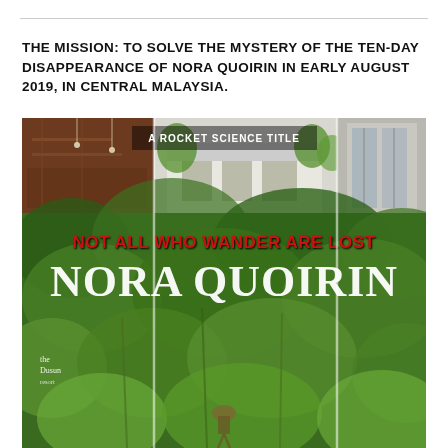THE MISSION: TO SOLVE THE MYSTERY OF THE TEN-DAY DISAPPEARANCE OF NORA QUOIRIN IN EARLY AUGUST 2019, IN CENTRAL MALAYSIA.
[Figure (photo): Book cover for 'Nora Quoirin' — a Rocket Science title. Subtitle: 'NOT ALL WHO WANDER ARE LOST'. The cover shows a composite of photos: interior of a wooden structure (top left), a modern white building amid tropical greenery (top centre), and a building entrance (top right). The main image is a lush green tropical jungle/garden scene with a person visible searching in the undergrowth. Vertical white translucent lines divide the cover into thirds. The book cover reads 'A ROCKET SCIENCE TITLE' at the top centre, 'NOT ALL WHO WANDER ARE LOST' in red bold text across the middle, and 'NORA QUOIRIN' in large white serif letters below. 'the Dusun' text appears in lower left.]